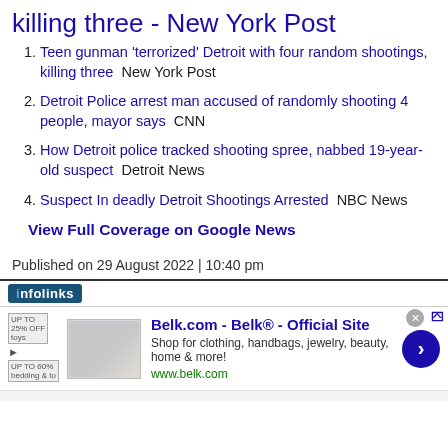killing three - New York Post
Teen gunman 'terrorized' Detroit with four random shootings, killing three  New York Post
Detroit Police arrest man accused of randomly shooting 4 people, mayor says  CNN
How Detroit police tracked shooting spree, nabbed 19-year-old suspect  Detroit News
Suspect In deadly Detroit Shootings Arrested  NBC News
View Full Coverage on Google News
Published on 29 August 2022 | 10:40 pm
[Figure (screenshot): Infolinks advertisement bar with Belk.com ad showing 'Belk.com - Belk® - Official Site', 'Shop for clothing, handbags, jewelry, beauty, home & more!', 'www.belk.com']